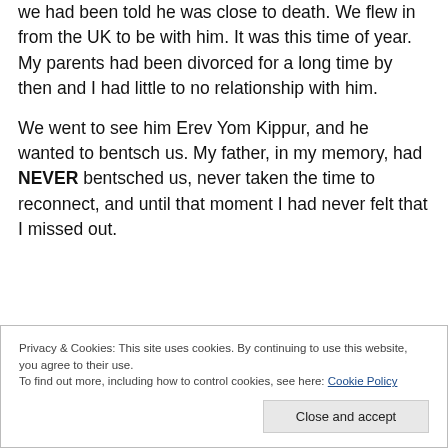we had been told he was close to death. We flew in from the UK to be with him. It was this time of year. My parents had been divorced for a long time by then and I had little to no relationship with him.
We went to see him Erev Yom Kippur, and he wanted to bentsch us. My father, in my memory, had NEVER bentsched us, never taken the time to reconnect, and until that moment I had never felt that I missed out.
Privacy & Cookies: This site uses cookies. By continuing to use this website, you agree to their use.
To find out more, including how to control cookies, see here: Cookie Policy